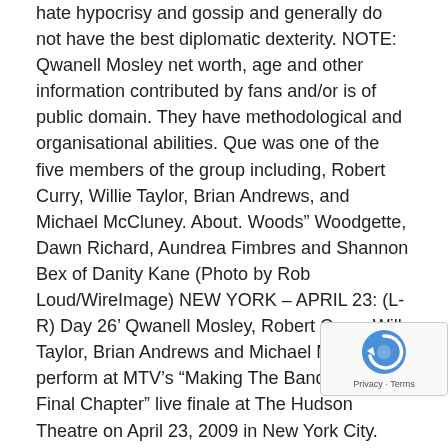hate hypocrisy and gossip and generally do not have the best diplomatic dexterity. NOTE: Qwanell Mosley net worth, age and other information contributed by fans and/or is of public domain. They have methodological and organisational abilities. Que was one of the five members of the group including, Robert Curry, Willie Taylor, Brian Andrews, and Michael McCluney. About. Woods” Woodgette, Dawn Richard, Aundrea Fimbres and Shannon Bex of Danity Kane (Photo by Rob Loud/WireImage) NEW YORK – APRIL 23: (L-R) Day 26’ Qwanell Mosley, Robert Curry, Will Taylor, Brian Andrews and Michael McCluney perform at MTV’s “Making The Band 4: The Final Chapter” live finale at The Hudson Theatre on April 23, 2009 in New York City. Qwanell Mosley concert tickets are on sale. People born under the rule of Lime achieve their life goals relatively quickly and easily. Change, Action, Seize the day, Expression, Growth. ticket. Learn about Qwanell Mosley (R&B Singer): Birthday, bio, family, parents, age, biography, born (date of birth) and all information about Qwanell Mosley. If something is missing, please check back soon or let us know. He made his 10 million dollar fortune with Guitar-Her music, Q Files, See Me – single. Seek other celebrities in the same
[Figure (other): reCAPTCHA badge with logo and Privacy-Terms text]